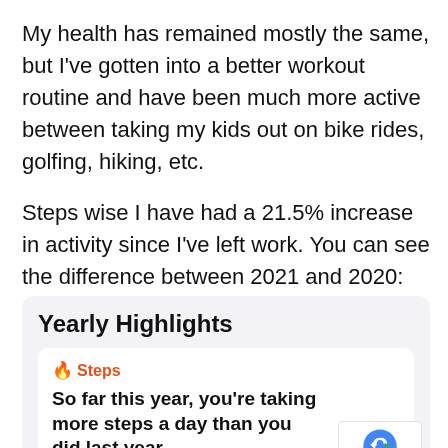My health has remained mostly the same, but I've gotten into a better workout routine and have been much more active between taking my kids out on bike rides, golfing, hiking, etc.
Steps wise I have had a 21.5% increase in activity since I've left work. You can see the difference between 2021 and 2020:
Yearly Highlights
🔥 Steps
So far this year, you're taking more steps a day than you did last year.